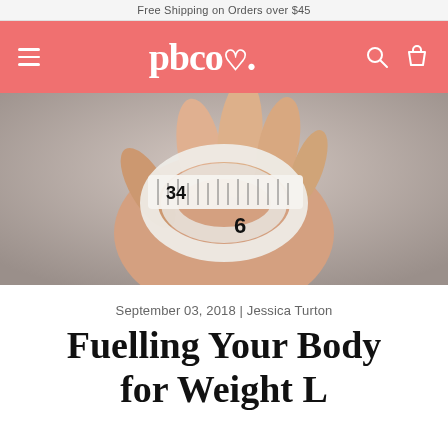Free Shipping on Orders over $45
[Figure (logo): pbco. logo with heart in salmon/coral header bar with hamburger menu, search and cart icons]
[Figure (photo): A hand holding a white measuring tape coiled around the fingers, showing numbers 34 and 6, on a grey background]
September 03, 2018 | Jessica Turton
Fuelling Your Body for Weight L...